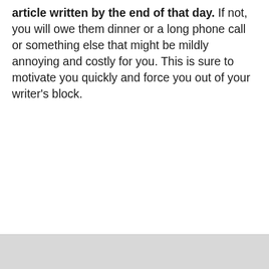article written by the end of that day. If not, you will owe them dinner or a long phone call or something else that might be mildly annoying and costly for you. This is sure to motivate you quickly and force you out of your writer's block.